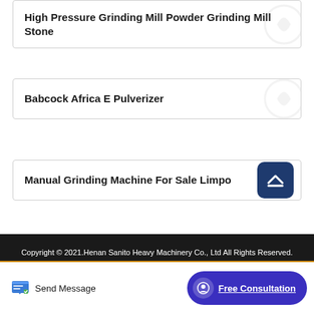High Pressure Grinding Mill Powder Grinding Mill Stone
Babcock Africa E Pulverizer
Manual Grinding Machine For Sale Limpopo
Copyright © 2021.Henan Sanito Heavy Machinery Co., Ltd All Rights Reserved. Sitemap
Send Message
Free Consultation